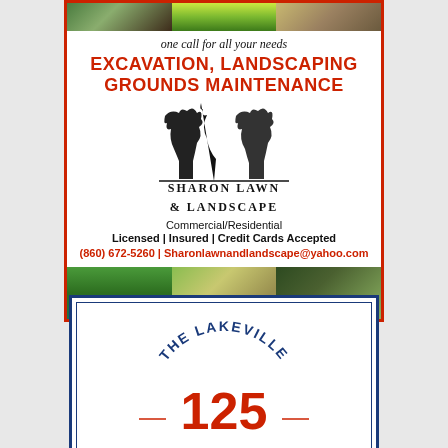[Figure (illustration): Sharon Lawn & Landscape advertisement with photos at top and bottom, tree logo, service text and contact info]
one call for all your needs
EXCAVATION, LANDSCAPING
GROUNDS MAINTENANCE
[Figure (logo): Sharon Lawn & Landscape tree logo with company name]
Commercial/Residential
Licensed | Insured | Credit Cards Accepted
(860) 672-5260 | Sharonlawnandlandscape@yahoo.com
[Figure (logo): The Lakeville 125 logo - partial view at bottom of page]